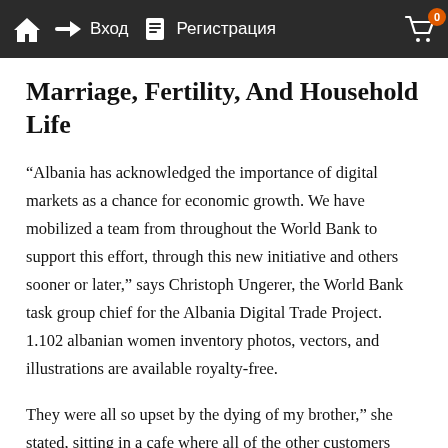Вход   Регистрация   0
Marriage, Fertility, And Household Life
“Albania has acknowledged the importance of digital markets as a chance for economic growth. We have mobilized a team from throughout the World Bank to support this effort, through this new initiative and others sooner or later,” says Christoph Ungerer, the World Bank task group chief for the Albania Digital Trade Project. 1.102 albanian women inventory photos, vectors, and illustrations are available royalty-free.
They were all so upset by the dying of my brother,” she stated, sitting in a cafe where all of the other customers